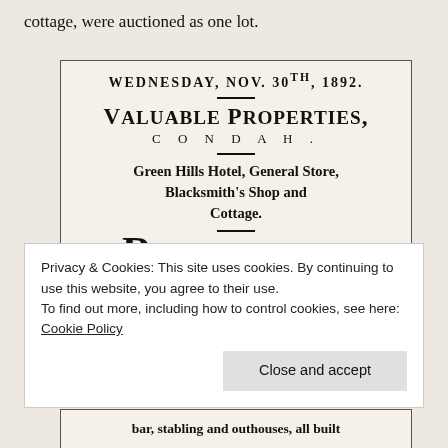cottage, were auctioned as one lot.
[Figure (photo): Scanned newspaper advertisement dated Wednesday, Nov. 30th, 1892, advertising Valuable Properties in Condah, including Green Hills Hotel, General Store, Blacksmith's Shop and Cottage. Robert Stapylton Bree and Co. have received instructions.]
Privacy & Cookies: This site uses cookies. By continuing to use this website, you agree to their use.
To find out more, including how to control cookies, see here: Cookie Policy
Close and accept
bar, stabling and outhouses, all built